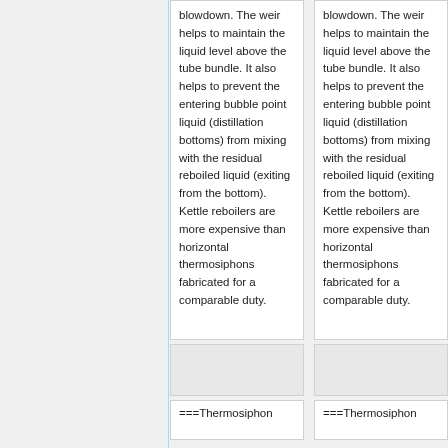blowdown. The weir helps to maintain the liquid level above the tube bundle. It also helps to prevent the entering bubble point liquid (distillation bottoms) from mixing with the residual reboiled liquid (exiting from the bottom). Kettle reboilers are more expensive than horizontal thermosiphons fabricated for a comparable duty.
blowdown. The weir helps to maintain the liquid level above the tube bundle. It also helps to prevent the entering bubble point liquid (distillation bottoms) from mixing with the residual reboiled liquid (exiting from the bottom). Kettle reboilers are more expensive than horizontal thermosiphons fabricated for a comparable duty.
[Figure (other): Image cell placeholder]
[Figure (other): Image cell placeholder]
===Thermosiphon
===Thermosiphon